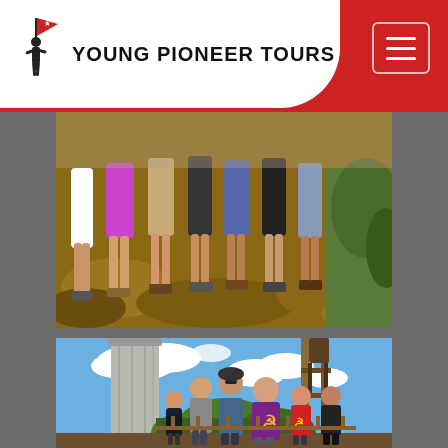[Figure (logo): Young Pioneer Tours logo: silhouette of figure with flag, text reading YPT YOUNG PIONEER TOURS in red and black on white background]
[Figure (photo): Group of tourists standing on rocky terrain, only legs and feet visible, wearing shorts and hiking shoes]
[Figure (photo): Group of 6 tourists posing in front of a large concrete tower/column under blue sky with clouds; one person wearing a communist hammer and sickle t-shirt, another in red shirt with hammer and sickle symbol]